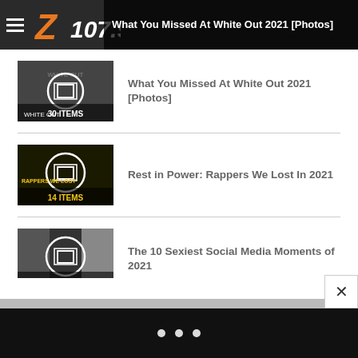[Figure (logo): Z107.9 radio station logo — orange and red Z with white text 107.9]
What You Missed At White Out 2021 [Photos]
[Figure (photo): Thumbnail: White Out 2021 event photo with '30 ITEMS' overlay and circle icon]
Rest in Power: Rappers We Lost In 2021
[Figure (photo): Thumbnail: Rappers We Lost dark background with '14 ITEMS' overlay and circle icon]
The 10 Sexiest Social Media Moments of 2021
[Figure (photo): Thumbnail: Social media moments photo with '10 ITEMS' overlay and circle icon]